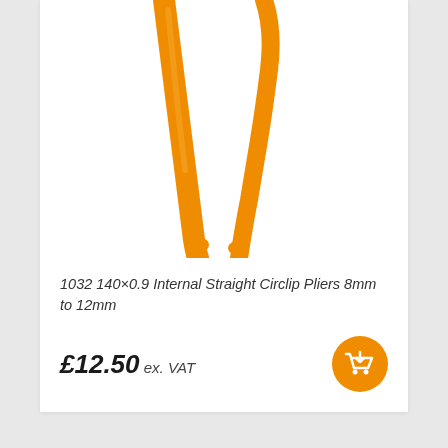[Figure (photo): Orange circlip pliers tool, partially visible at top of product card]
1032 140×0.9 Internal Straight Circlip Pliers 8mm to 12mm
£12.50 ex. VAT
[Figure (logo): Ambersil brand logo in orange with blue circle accent]
[Figure (logo): Camozzi brand logo in black with red bar]